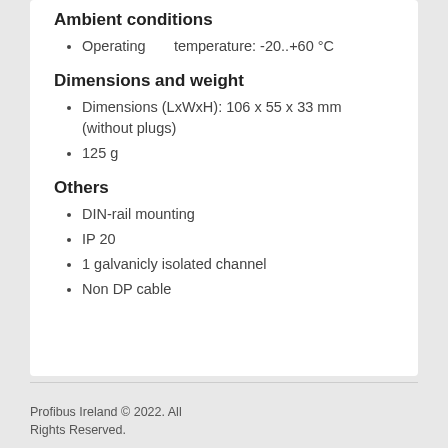Ambient conditions
Operating temperature: -20..+60 °C
Dimensions and weight
Dimensions (LxWxH): 106 x 55 x 33 mm (without plugs)
125 g
Others
DIN-rail mounting
IP 20
1 galvanicly isolated channel
Non DP cable
Profibus Ireland © 2022. All Rights Reserved.